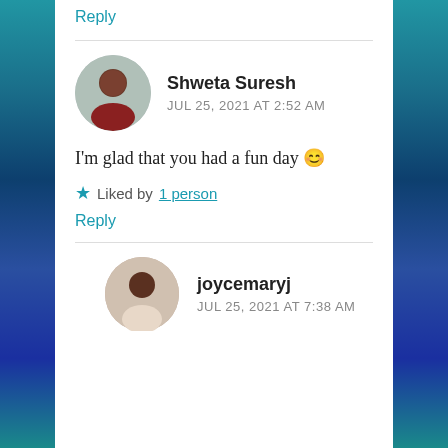Reply
Shweta Suresh
JUL 25, 2021 AT 2:52 AM
I'm glad that you had a fun day 😊
★ Liked by 1 person
Reply
joycemaryj
JUL 25, 2021 AT 7:38 AM